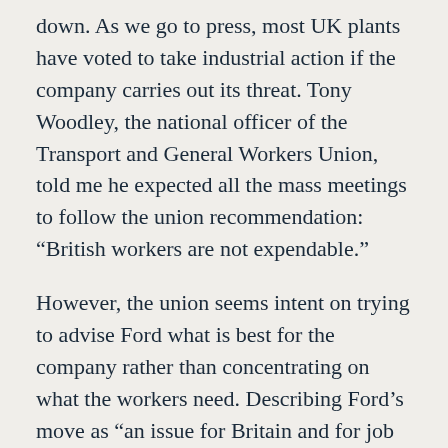down. As we go to press, most UK plants have voted to take industrial action if the company carries out its threat. Tony Woodley, the national officer of the Transport and General Workers Union, told me he expected all the mass meetings to follow the union recommendation: “British workers are not expendable.”
However, the union seems intent on trying to advise Ford what is best for the company rather than concentrating on what the workers need. Describing Ford’s move as “an issue for Britain and for job security at Halewood,” Tony Woodley added: “With 129,000 models sold in Britain we are easily the largest European market.” Although admitting